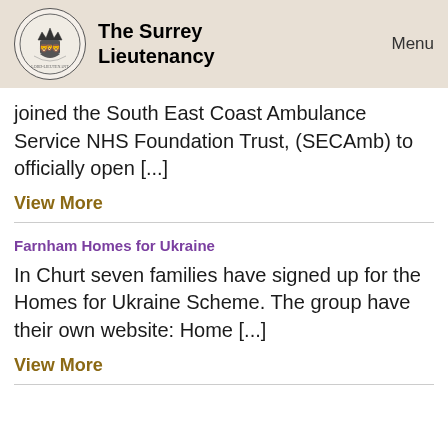The Surrey Lieutenancy   Menu
joined the South East Coast Ambulance Service NHS Foundation Trust, (SECAmb) to officially open [...]
View More
Farnham Homes for Ukraine
In Churt seven families have signed up for the Homes for Ukraine Scheme. The group have their own website: Home [...]
View More